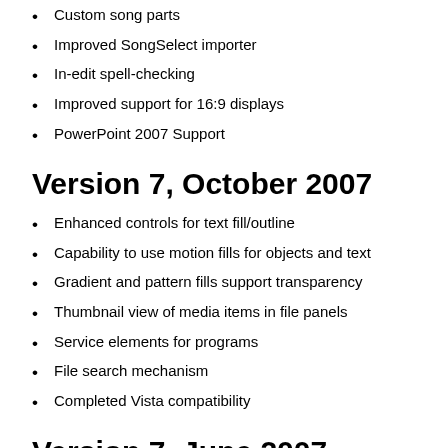Custom song parts
Improved SongSelect importer
In-edit spell-checking
Improved support for 16:9 displays
PowerPoint 2007 Support
Version 7, October 2007
Enhanced controls for text fill/outline
Capability to use motion fills for objects and text
Gradient and pattern fills support transparency
Thumbnail view of media items in file panels
Service elements for programs
File search mechanism
Completed Vista compatibility
Version 7, June 2007
Audio tracks for slide shows